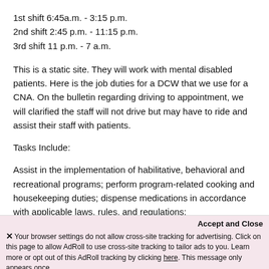1st shift 6:45a.m. - 3:15 p.m.
2nd shift 2:45 p.m. - 11:15 p.m.
3rd shift 11 p.m. - 7 a.m.
This is a static site. They will work with mental disabled patients. Here is the job duties for a DCW that we use for a CNA. On the bulletin regarding driving to appointment, we will clarified the staff will not drive but may have to ride and assist their staff with patients.
Tasks Include:
Assist in the implementation of habilitative, behavioral and recreational programs; perform program-related cooking and housekeeping duties; dispense medications in accordance with applicable laws, rules, and regulations;
Communicate about, and with, the individuals served in a
Accept and Close
✕ Your browser settings do not allow cross-site tracking for advertising. Click on this page to allow AdRoll to use cross-site tracking to tailor ads to you. Learn more or opt out of this AdRoll tracking by clicking here. This message only appears once.